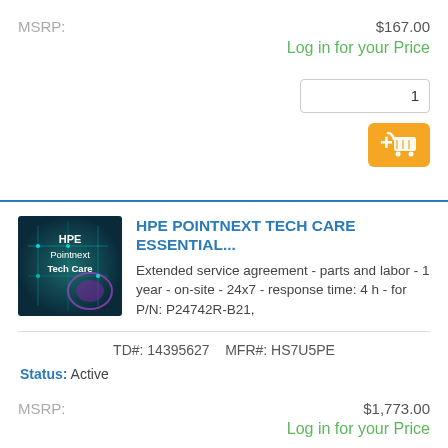MSRP: $167.00
Log in for your Price
1
[Figure (illustration): Orange add-to-cart button with shopping cart icon and plus sign]
[Figure (photo): HPE Pointnext Tech Care product image with teal/purple circuit board background and white text]
HPE POINTNEXT TECH CARE ESSENTIAL...
Extended service agreement - parts and labor - 1 year - on-site - 24x7 - response time: 4 h - for P/N: P24742R-B21,
TD#: 14395627    MFR#: HS7U5PE
Status: Active
MSRP: $1,773.00
Log in for your Price